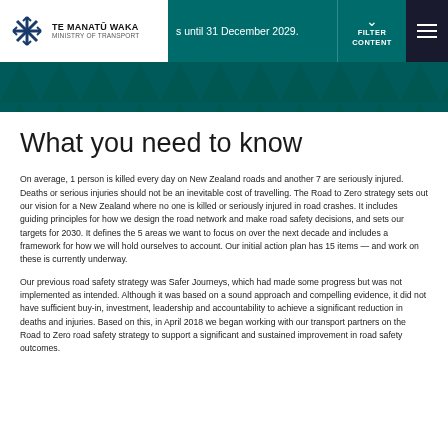Te Manatū Waka Ministry of Transport — Guiding improvements in New Zealand's road safety financial grants until 31 December 2029. FILTER CONTENT
What you need to know
On average, 1 person is killed every day on New Zealand roads and another 7 are seriously injured. Deaths or serious injuries should not be an inevitable cost of travelling. The Road to Zero strategy sets out our vision for a New Zealand where no one is killed or seriously injured in road crashes. It includes guiding principles for how we design the road network and make road safety decisions, and sets our targets for 2030. It defines the 5 areas we want to focus on over the next decade and includes a framework for how we will hold ourselves to account. Our initial action plan has 15 items — and work on these is currently underway.
Our previous road safety strategy was Safer Journeys, which had made some progress but was not implemented as intended. Although it was based on a sound approach and compelling evidence, it did not have sufficient buy-in, investment, leadership and accountability to achieve a significant reduction in deaths and injuries. Based on this, in April 2018 we began working with our transport partners on the Road to Zero road safety strategy to support a significant and sustained improvement in road safety outcomes.